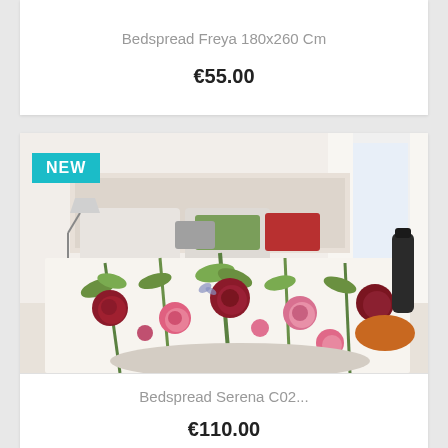Bedspread Freya 180x260 Cm
€55.00
[Figure (photo): Bedroom with floral bedspread (Serena C02) draped over a bed with colorful pillows, lamp, curtains, and orange cushion on floor. NEW badge in teal top-left corner.]
Bedspread Serena C02...
€110.00